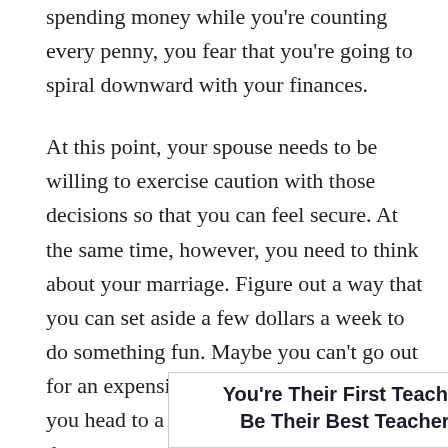spending money while you're counting every penny, you fear that you're going to spiral downward with your finances.
At this point, your spouse needs to be willing to exercise caution with those decisions so that you can feel secure. At the same time, however, you need to think about your marriage. Figure out a way that you can set aside a few dollars a week to do something fun. Maybe you can't go out for an expensive dinner, but can the two of you head to a fast-food restaurant or get dessert somewhere? How about going to a movie during matinee hours? Do whatever it takes. Your spouse needs that fun time and wants to spend it with you. Count yourself blessed! And then look for creative ways to make it happen.
[Figure (other): Advertisement banner with text 'You're Their First Teacher. Be Their Best Teacher.' with a close (x) button in the upper right corner.]